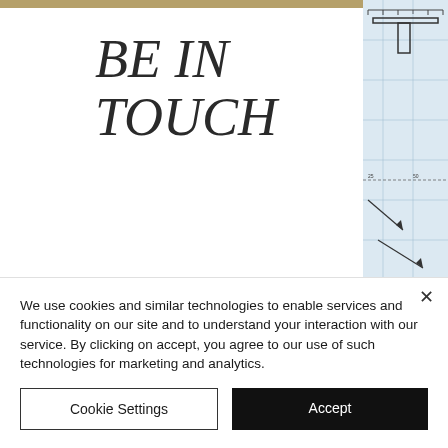[Figure (photo): Engineering blueprint/technical drawing photo on right side]
BE IN TOUCH
We use cookies and similar technologies to enable services and functionality on our site and to understand your interaction with our service. By clicking on accept, you agree to our use of such technologies for marketing and analytics.
Cookie Settings | Accept